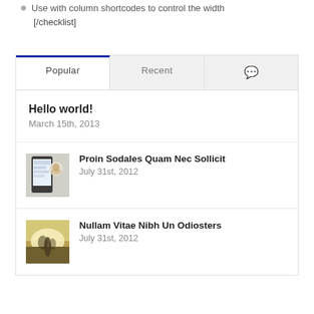Use with column shortcodes to control the width
[/checklist]
[Figure (screenshot): A tabbed widget showing Popular, Recent, and Comments tabs. Popular tab is active with a blue top border. Three posts are listed: 'Hello world!' dated March 15th, 2013 (no thumbnail), 'Proin Sodales Quam Nec Sollicit' dated July 31st, 2012 (with phone/social media thumbnail), and 'Nullam Vitae Nibh Un Odiosters' dated July 31st, 2012 (with nature/sunset thumbnail).]